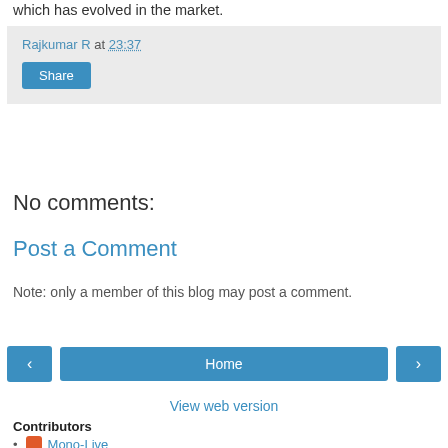which has evolved in the market.
Rajkumar R at 23:37
Share
No comments:
Post a Comment
Note: only a member of this blog may post a comment.
‹
Home
›
View web version
Contributors
Mono-Live
Rajkumar R